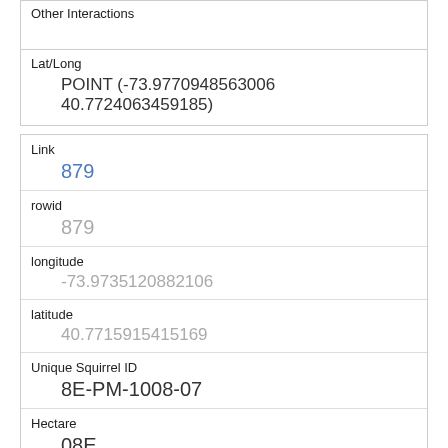Other Interactions
| Lat/Long | POINT (-73.9770948563006 40.7724063459185) |
| Link | 879 |
| rowid | 879 |
| longitude | -73.9735120882106 |
| latitude | 40.7715915415169 |
| Unique Squirrel ID | 8E-PM-1008-07 |
| Hectare | 08E |
| Shift | PM |
| Date | 10082018 |